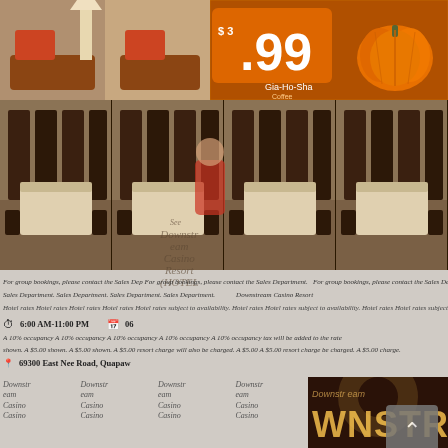[Figure (photo): Hotel room interior photos repeated in a horizontal strip, showing beds and dark wood furniture]
[Figure (photo): Price sign showing $3.99 with pumpkin decoration and Gia-Ho-Sha Coffee branding on orange background]
For group bookings, please contact the Downstream Casino Resort Sales Department.
Downstream Casino Resort (HOTEL)
Hotel rates subject to availability. Hotel rates subject to availability.
6:00 AM-11:00 PM
A 10% occupancy/city tax will be added to the rates shown. A $5.00 resort charge will also be charged.
69300 East Nee Road, Quapaw
Downstream Casino Resort
[Figure (photo): Downstream Casino Resort hotel room and sign at bottom right]